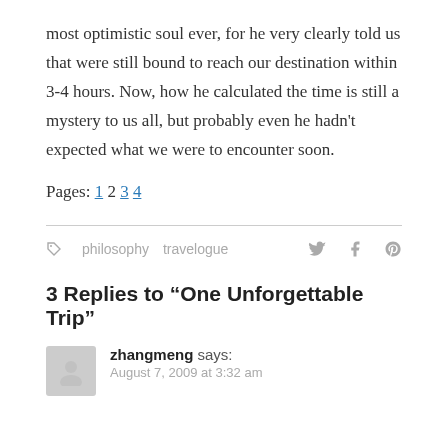most optimistic soul ever, for he very clearly told us that were still bound to reach our destination within 3-4 hours. Now, how he calculated the time is still a mystery to us all, but probably even he hadn't expected what we were to encounter soon.
Pages: 1 2 3 4
philosophy   travelogue
3 Replies to “One Unforgettable Trip”
zhangmeng says:
August 7, 2009 at 3:32 am